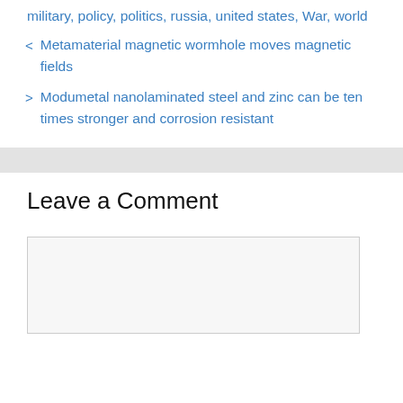military, policy, politics, russia, united states, War, world
< Metamaterial magnetic wormhole moves magnetic fields
> Modumetal nanolaminated steel and zinc can be ten times stronger and corrosion resistant
Leave a Comment